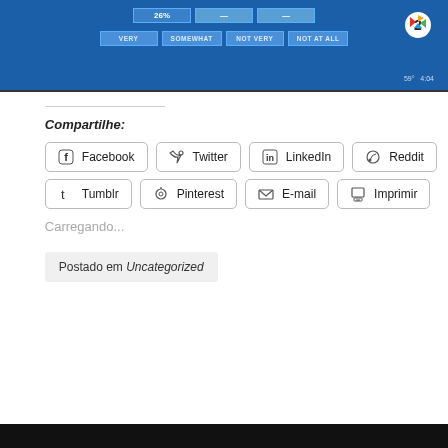[Figure (screenshot): TV screenshot showing a news poll graphic with columns labeled VERY, SOMEWHAT, NOT VERY, NOT AT ALL on an NBC2 broadcast. Time shown: 4:04, temperature 59°.]
Compartilhe:
Facebook  Twitter  LinkedIn  Reddit  Tumblr  Pinterest  E-mail  Imprimir
Carregando...
Postado em Uncategorized